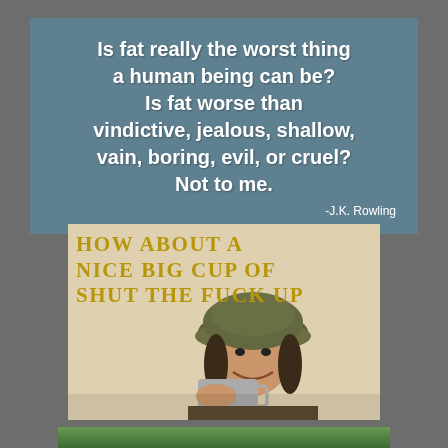[Figure (infographic): Blue-grey quote card with white bold text: 'Is fat really the worst thing a human being can be? Is fat worse than vindictive, jealous, shallow, vain, boring, evil, or cruel? Not to me.' with attribution '-J.K. Rowling']
[Figure (infographic): Vintage-style illustration of a smiling soldier in a helmet holding a large cup, with bold gold/yellow text reading 'HOW ABOUT A NICE BIG CUP OF SHUT THE FUCK UP' on a cream/parchment background]
[Figure (photo): Partial image visible at the bottom of the page showing green landscape, cropped]